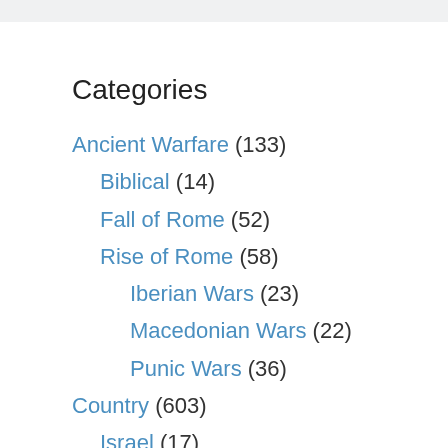Categories
Ancient Warfare (133)
Biblical (14)
Fall of Rome (52)
Rise of Rome (58)
Iberian Wars (23)
Macedonian Wars (22)
Punic Wars (36)
Country (603)
Israel (17)
New Zealand (56)